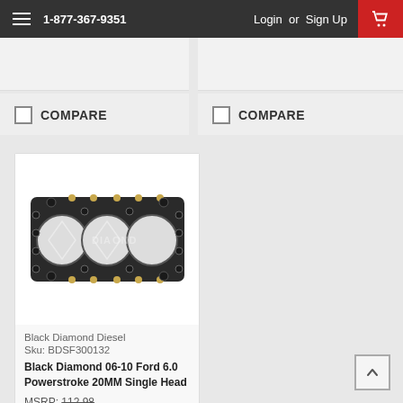1-877-367-9351   Login or Sign Up
COMPARE
COMPARE
[Figure (photo): Black Diamond Diesel cylinder head gasket for Ford 6.0 Powerstroke, multi-layer steel construction with four large bore openings and bolt holes around perimeter, photographed on white background with Diamond Diesel watermark overlay]
Black Diamond Diesel
Sku: BDSF300132
Black Diamond 06-10 Ford 6.0 Powerstroke 20MM Single Head
MSRP: 112.98